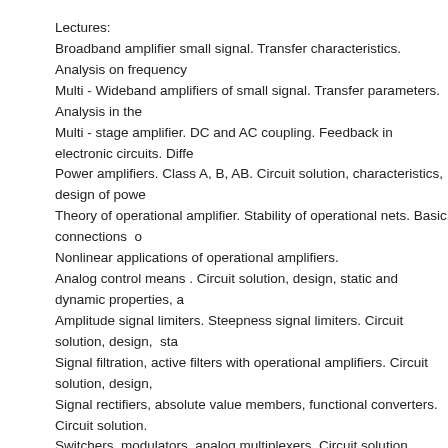Lectures:
Broadband amplifier small signal. Transfer characteristics. Analysis on frequency
Multi - Wideband amplifiers of small signal. Transfer parameters. Analysis in the
Multi - stage amplifier. DC and AC coupling. Feedback in electronic circuits. Diffe
Power amplifiers. Class A, B, AB. Circuit solution, characteristics, design of powe
Theory of operational amplifier. Stability of operational nets. Basic connections o
Nonlinear applications of operational amplifiers.
Analog control means . Circuit solution, design, static and dynamic properties, a
Amplitude signal limiters. Steepness signal limiters. Circuit solution, design,  sta
Signal filtration, active filters with operational amplifiers. Circuit solution, design,
Signal rectifiers, absolute value members, functional converters. Circuit solution.
Switchers, modulators, analog multiplexers. Circuit solution, design, static and d
Analog memories and their applications. Circuit solution, design, static and dyna
Analog multipliers and their applications. Circuit solution, design, static and dyna
Phase-locked loop (PLL) and its applications. Converters voltage - frequency. Ci
Signal generators. Harmonic oscillators. Generators with the rectangular, triangu
applications.
Signal modulation. Modulators and convertor. Circuit solution, design, characteri
Exercises:
Design examples of wideband amplifiers.
Design examples of power amplifiers.
Design examples of differential amplifier.
TEST No.1 - Amplifiers and their applications
Design examples of operational nets.